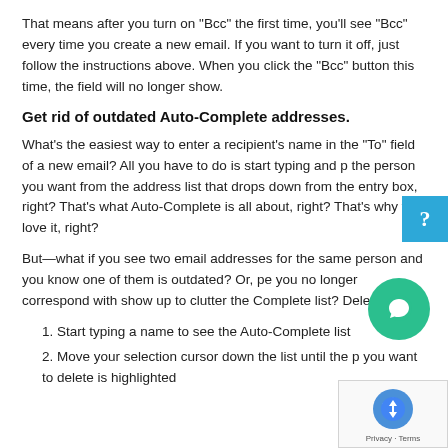That means after you turn on “Bcc” the first time, you’ll see “Bcc” every time you create a new email. If you want to turn it off, just follow the instructions above. When you click the “Bcc” button this time, the field will no longer show.
Get rid of outdated Auto-Complete addresses.
What’s the easiest way to enter a recipient’s name in the “To” field of a new email? All you have to do is start typing and p the person you want from the address list that drops down from the entry box, right? That’s what Auto-Complete is all about, right? That’s why we love it, right?
But—what if you see two email addresses for the same person and you know one of them is outdated? Or, pe you no longer correspond with show up to clutter the Complete list? Delete them!
1. Start typing a name to see the Auto-Complete list
2. Move your selection cursor down the list until the p you want to delete is highlighted